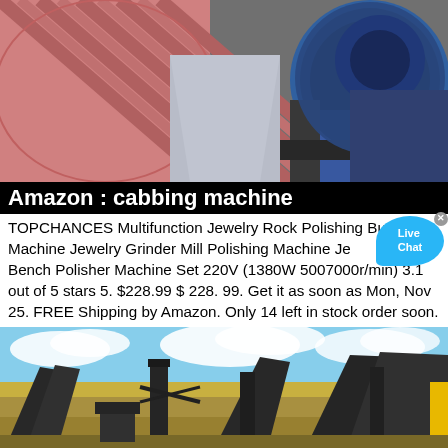[Figure (photo): Photo of a pink/red roller grinding machine with blue motor on the right side, industrial equipment]
Amazon : cabbing machine
TOPCHANCES Multifunction Jewelry Rock Polishing Bu- Machine Jewelry Grinder Mill Polishing Machine Je y Table Bench Polisher Machine Set 220V (1380W 5007000r/min) 3.1 out of 5 stars 5. $228.99 $ 228. 99. Get it as soon as Mon, Nov 25. FREE Shipping by Amazon. Only 14 left in stock order soon.
[Figure (photo): Photo of a large open-pit mining or quarry facility with multiple conveyor belts, machinery, and structures against a blue sky with clouds]